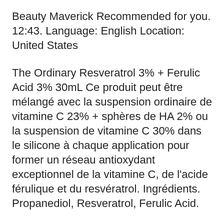Beauty Maverick Recommended for you. 12:43. Language: English Location: United States
The Ordinary Resveratrol 3% + Ferulic Acid 3% 30mL Ce produit peut être mélangé avec la suspension ordinaire de vitamine C 23% + sphères de HA 2% ou la suspension de vitamine C 30% dans le silicone à chaque application pour former un réseau antioxydant exceptionnel de la vitamine C, de l'acide férulique et du resvératrol. Ingrédients. Propanediol, Resveratrol, Ferulic Acid.
Formule antioxydante à haute puissance sans eau Cette formule associe de très fortes concentrations de